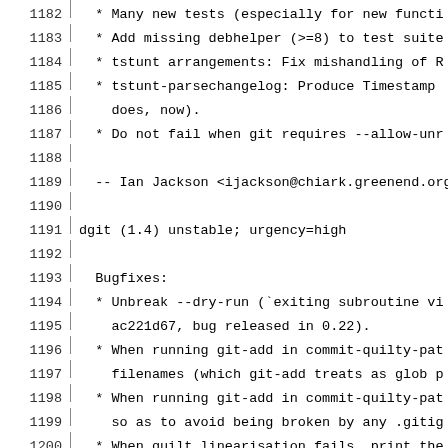Code/changelog listing lines 1182-1211
1182: * Many new tests (especially for new functi
1183: * Add missing debhelper (>=8) to test suite
1184: * tstunt arrangements: Fix mishandling of R
1185: * tstunt-parsechangelog: Produce Timestamp
1186:   does, now).
1187: * Do not fail when git requires --allow-unr
1188: (blank)
1189: -- Ian Jackson <ijackson@chiark.greenend.org
1190: (blank)
1191: dgit (1.4) unstable; urgency=high
1192: (blank)
1193:   Bugfixes:
1194: * Unbreak --dry-run (`exiting subroutine vi
1195:   ac221d67, bug released in 0.22).
1196: * When running git-add in commit-quilty-pat
1197:   filenames (which git-add treats as glob p
1198: * When running git-add in commit-quilty-pat
1199:   so as to avoid being broken by any .gitig
1200: * When quilt linearisation fails, print the
1201:   the error message.  (This has been broken
1202: * Cope properly with `3.0 (quilt)' with sin
1203:   Closes:#796016.  (Still does not work wit
1204:   no test case yet.)
1205: * With dgit sbuild, pass our -d before the
1206:   the user can override it.  Closes:#796019
1207: (blank)
1208:   New checks and improved behaviours:
1209: * Detect and reject git trees containing de
1210:   or debian/source/local-patch-header.
1211: * In --dry-run mode,  do  actually run dpkc